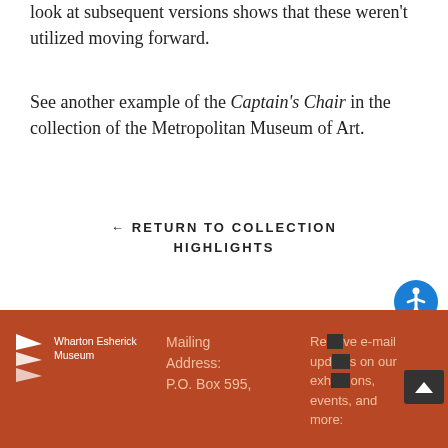look at subsequent versions shows that these weren't utilized moving forward.
See another example of the Captain's Chair in the collection of the Metropolitan Museum of Art.
← RETURN TO COLLECTION HIGHLIGHTS
[Figure (logo): Wharton Esherick Museum logo with three triangular arrow shapes and text]
Mailing Address: P.O. Box 595,
Receive e-mail updates on our exhibitions, events, and more: